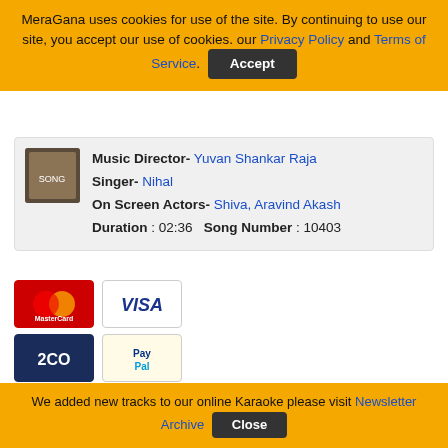MeraGana uses cookies for use of the site. By continuing to use our site, you accept our use of cookies. our Privacy Policy and Terms of Service. [Accept]
Music Director- Yuvan Shankar Raja
Singer- Nihal
On Screen Actors- Shiva, Aravind Akash
Duration : 02:36   Song Number : 10403
[Figure (logo): Payment logos: MasterCard, VISA, 2CO, PayPal]
Terms of Service | Privacy Policy| Newsletter Archive
If you believe that any material held in by us infringes your copyright please follow the guidance in our Notice and Take Down policy.
We added new tracks to our online Karaoke please visit Newsletter Archive [Close]